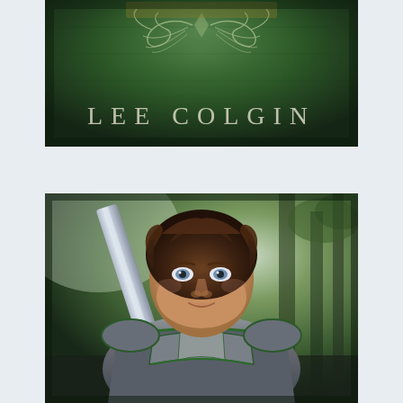[Figure (illustration): Book cover with dark green forest background, ornamental swirl design at top, and author name 'LEE COLGIN' in large spaced serif letters near the bottom]
[Figure (photo): Young male model with curly brown hair and blue eyes, wearing green-trimmed silver knight armor, holding a sword, posed against a misty green forest background]